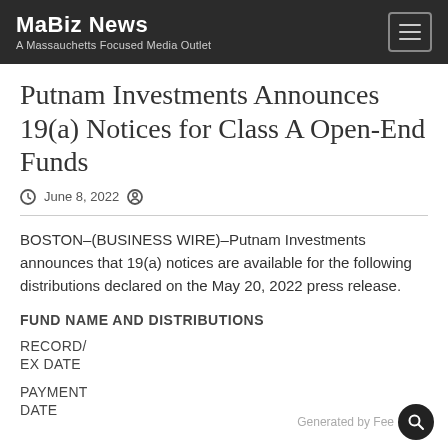MaBiz News
A Massauchetts Focused Media Outlet
Putnam Investments Announces 19(a) Notices for Class A Open-End Funds
June 8, 2022
BOSTON–(BUSINESS WIRE)–Putnam Investments announces that 19(a) notices are available for the following distributions declared on the May 20, 2022 press release.
FUND NAME AND DISTRIBUTIONS
RECORD/
EX DATE
PAYMENT
DATE